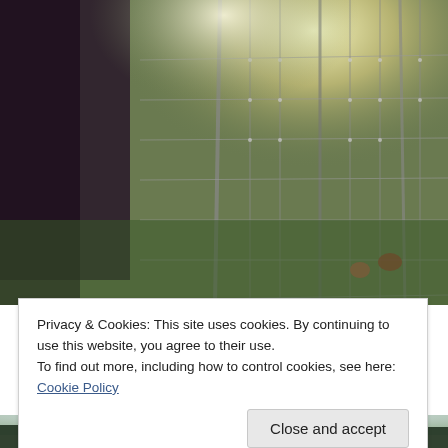[Figure (photo): Outdoor scene showing a wire mesh fence with light shining through, green vegetation in background, dark figure on left side.]
Privacy & Cookies: This site uses cookies. By continuing to use this website, you agree to their use.
To find out more, including how to control cookies, see here: Cookie Policy
[Close and accept]
[Figure (photo): Bottom partial photo showing dark trees against a light sky.]